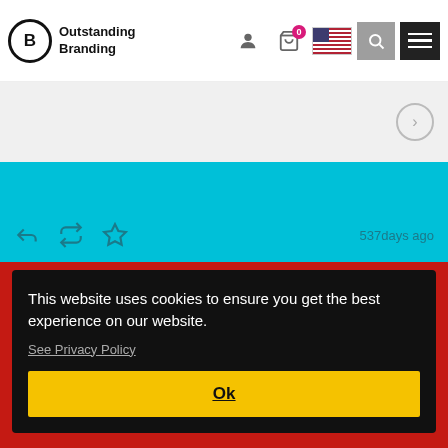Outstanding Branding
[Figure (screenshot): Navigation bar with user icon, cart with 0 badge, US flag, search button, and hamburger menu]
[Figure (screenshot): Grey banner area with right arrow navigation button]
[Figure (screenshot): Cyan/blue social media section showing reply, retweet, and favorite icons with '537days ago' text]
This website uses cookies to ensure you get the best experience on our website.
See Privacy Policy
Ok